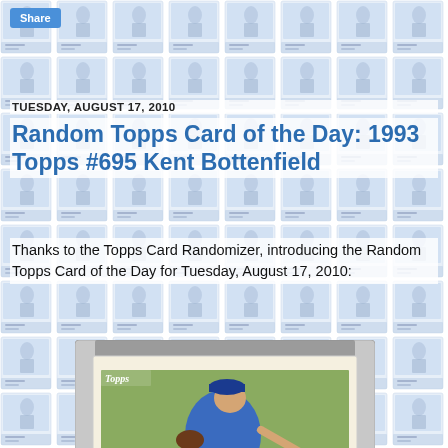Share
TUESDAY, AUGUST 17, 2010
Random Topps Card of the Day: 1993 Topps #695 Kent Bottenfield
Thanks to the Topps Card Randomizer, introducing the Random Topps Card of the Day for Tuesday, August 17, 2010:
[Figure (photo): A 1993 Topps baseball card #695 of Kent Bottenfield, showing him in a blue Mets uniform in a pitching stance, displayed inside a plastic card holder/case. The card has the Topps logo in the upper left corner.]